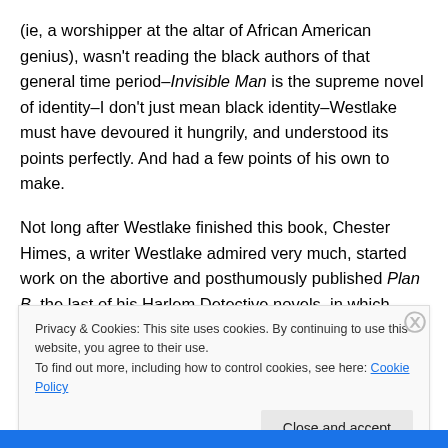(ie, a worshipper at the altar of African American genius), wasn't reading the black authors of that general time period–Invisible Man is the supreme novel of identity–I don't just mean black identity–Westlake must have devoured it hungrily, and understood its points perfectly. And had a few points of his own to make.
Not long after Westlake finished this book, Chester Himes, a writer Westlake admired very much, started work on the abortive and posthumously published Plan B, the last of his Harlem Detective novels–in which (spoiler alert) he
Privacy & Cookies: This site uses cookies. By continuing to use this website, you agree to their use.
To find out more, including how to control cookies, see here: Cookie Policy